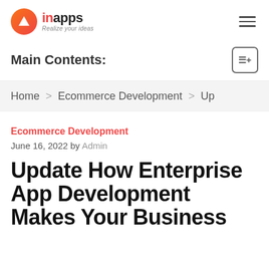inapps - Realize your ideas
Main Contents:
Home > Ecommerce Development > Up
Ecommerce Development
June 16, 2022 by Admin
Update How Enterprise App Development Makes Your Business